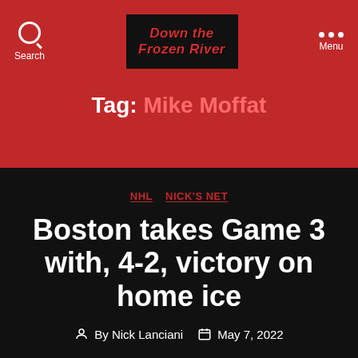Down the Frozen River — Search | Menu
Tag: Mike Moffat
NHL  NICK'S NET
Boston takes Game 3 with, 4-2, victory on home ice
By Nick Lanciani  May 7, 2022